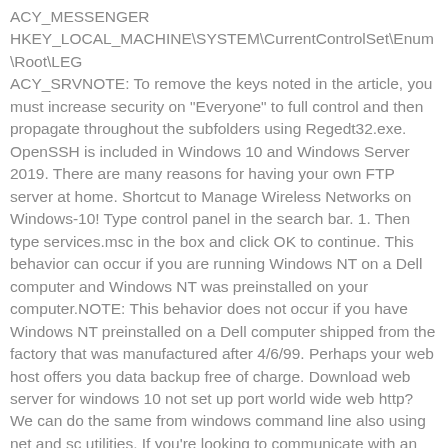ACY_MESSENGER HKEY_LOCAL_MACHINE\SYSTEM\CurrentControlSet\Enum\Root\LEGACY_SRVNOTE: To remove the keys noted in the article, you must increase security on "Everyone" to full control and then propagate throughout the subfolders using Regedt32.exe. OpenSSH is included in Windows 10 and Windows Server 2019. There are many reasons for having your own FTP server at home. Shortcut to Manage Wireless Networks on Windows-10! Type control panel in the search bar. 1. Then type services.msc in the box and click OK to continue. This behavior can occur if you are running Windows NT on a Dell computer and Windows NT was preinstalled on your computer.NOTE: This behavior does not occur if you have Windows NT preinstalled on a Dell computer shipped from the factory that was manufactured after 4/6/99. Perhaps your web host offers you data backup free of charge. Download web server for windows 10 not set up port world wide web http? We can do the same from windows command line also using net and sc utilities. If you're looking to communicate with an SMB server,